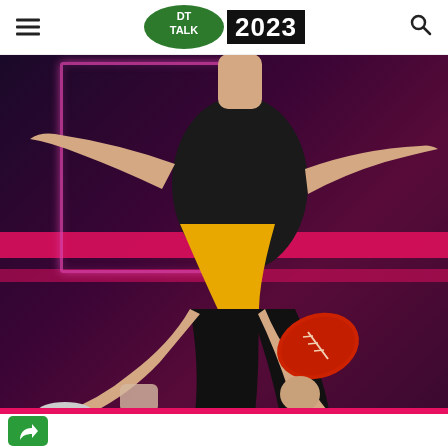DT TALK 2023
[Figure (photo): An AFL football player in a black and yellow (gold) sleeveless jersey and black shorts is mid-kick, holding a red Australian rules football between their legs. The background is a dark purple/magenta gradient with pink horizontal bars and a neon pink rectangle outline. The player's arms are outstretched. The image is part of the DT Talk 2023 website.]